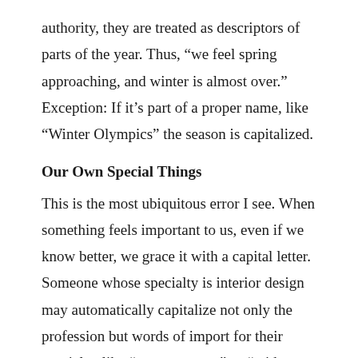authority, they are treated as descriptors of parts of the year. Thus, “we feel spring approaching, and winter is almost over.” Exception: If it’s part of a proper name, like “Winter Olympics” the season is capitalized.
Our Own Special Things
This is the most ubiquitous error I see. When something feels important to us, even if we know better, we grace it with a capital letter. Someone whose specialty is interior design may automatically capitalize not only the profession but words of import for their specialty, like “contemporary” or “mid-century.” We have to check ourselves here; reread carefully and google* it if you’re not sure.
School Subjects